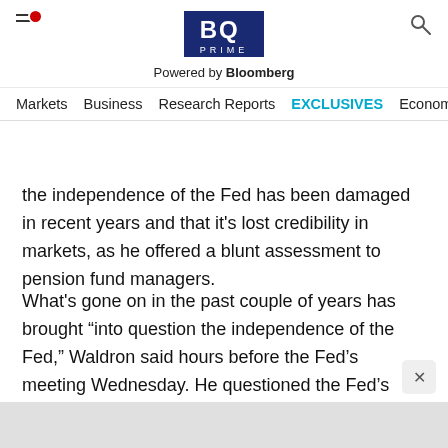BQ PRIME — Powered by Bloomberg | Navigation: Markets, Business, Research Reports, EXCLUSIVES, Economy
the independence of the Fed has been damaged in recent years and that it's lost credibility in markets, as he offered a blunt assessment to pension fund managers.
What's gone on in the past couple of years has brought “into question the independence of the Fed,” Waldron said hours before the Fed’s meeting Wednesday. He questioned the Fed’s strength to act as an “independent, monetary policy engine that is doing what it thinks is right and not what’s expedient.”